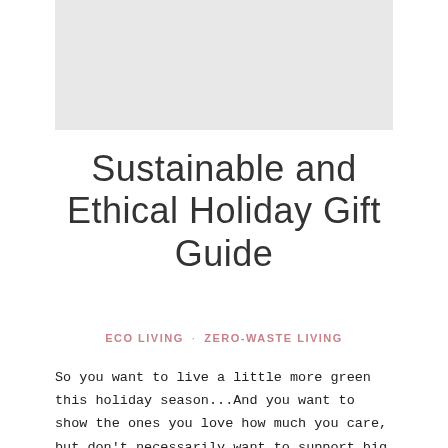[Figure (photo): Header image placeholder, light gray rectangle]
Sustainable and Ethical Holiday Gift Guide
ECO LIVING · ZERO-WASTE LIVING
So you want to live a little more green this holiday season...And you want to show the ones you love how much you care, but don't necessarily want to support big box stores...You came to the right place.Shopping sustainably is better for people and better for the planet (plus your products ...